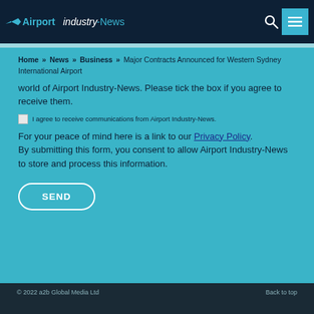Airportindustry-News
Home » News » Business » Major Contracts Announced for Western Sydney International Airport
world of Airport Industry-News. Please tick the box if you agree to receive them.
I agree to receive communications from Airport Industry-News.
For your peace of mind here is a link to our Privacy Policy. By submitting this form, you consent to allow Airport Industry-News to store and process this information.
SEND
© 2022 a2b Global Media Ltd    Back to top